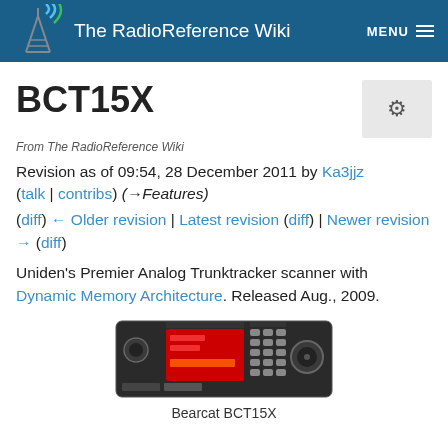The RadioReference Wiki
BCT15X
From The RadioReference Wiki
Revision as of 09:54, 28 December 2011 by Ka3jjz (talk | contribs) (→Features)
(diff) ← Older revision | Latest revision (diff) | Newer revision → (diff)
Uniden's Premier Analog Trunktracker scanner with Dynamic Memory Architecture. Released Aug., 2009.
[Figure (photo): Photo of the Bearcat BCT15X scanner radio unit, showing the front panel with display, buttons, and control knob.]
Bearcat BCT15X